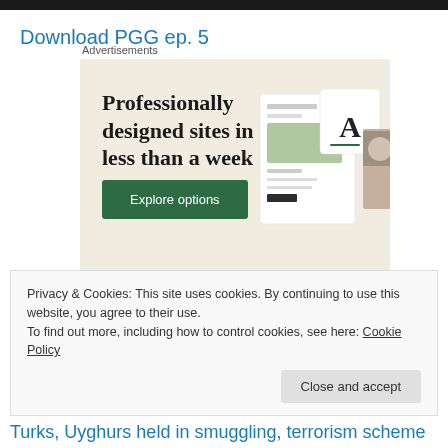Download PGG ep. 5
Advertisements
[Figure (illustration): Advertisement banner with beige background showing text 'Professionally designed sites in less than a week' with a green 'Explore options' button and website mockup screenshots on the right]
Privacy & Cookies: This site uses cookies. By continuing to use this website, you agree to their use.
To find out more, including how to control cookies, see here: Cookie Policy
Close and accept
Turks, Uyghurs held in smuggling, terrorism scheme